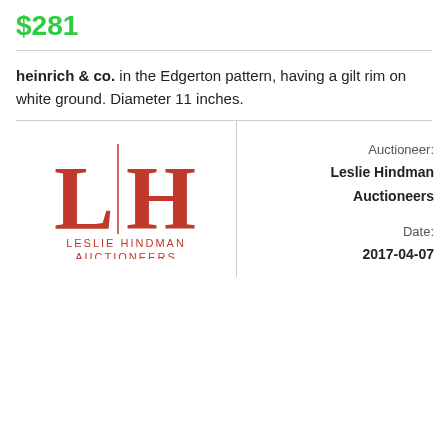$281
heinrich & co. in the Edgerton pattern, having a gilt rim on white ground. Diameter 11 inches.
[Figure (logo): Leslie Hindman Auctioneers logo with large red LH letters and full name below]
Auctioneer: Leslie Hindman Auctioneers
Date: 2017-04-07